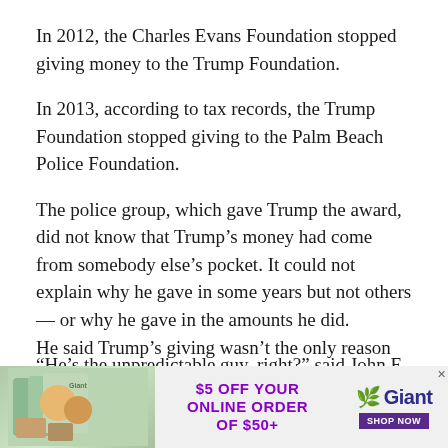In 2012, the Charles Evans Foundation stopped giving money to the Trump Foundation.
In 2013, according to tax records, the Trump Foundation stopped giving to the Palm Beach Police Foundation.
The police group, which gave Trump the award, did not know that Trump’s money had come from somebody else’s pocket. It could not explain why he gave in some years but not others — or why he gave in the amounts he did.
“He’s the unpredictable guy, right?” said John F. Scarpa, the Palm Beach Police Foundation’s president, before The Post informed him about how Trump got the money.
He said Trump’s giving wasn’t the only reason he got the
[Figure (screenshot): Advertisement banner for Giant supermarket: $5 OFF YOUR ONLINE ORDER OF $50+ with Giant logo and SHOP NOW button, grocery image on left]